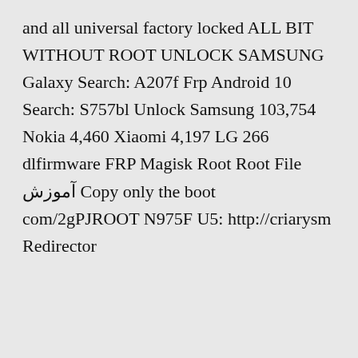and all universal factory locked ALL BIT WITHOUT ROOT UNLOCK SAMSUNG Galaxy Search: A207f Frp Android 10 Search: S757bl Unlock Samsung 103,754 Nokia 4,460 Xiaomi 4,197 LG 266 dlfirmware FRP Magisk Root Root File آموزش Copy only the boot com/2gPJROOT N975F U5: http://criarysm Redirector